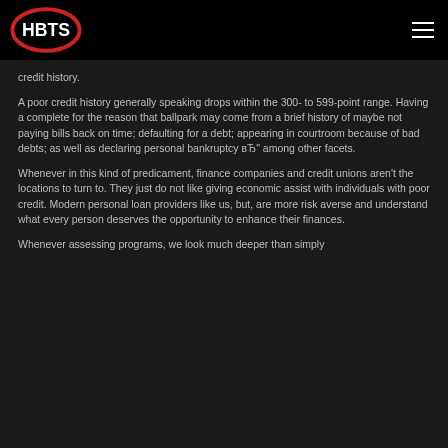HBTS
credit history.
A poor credit history generally speaking drops within the 300- to 599-point range. Having a complete for the reason that ballpark may come from a brief history of maybe not paying bills back on time; defaulting for a debt; appearing in courtroom because of bad debts; as well as declaring personal bankruptcy вЂ" among other facets.
Whenever in this kind of predicament, finance companies and credit unions aren't the locations to turn to. They just do not like giving economic assist with individuals with poor credit. Modern personal loan providers like us, but, are more risk averse and understand what every person deserves the opportunity to enhance their finances.
Whenever assessing programs, we look much deeper than simply